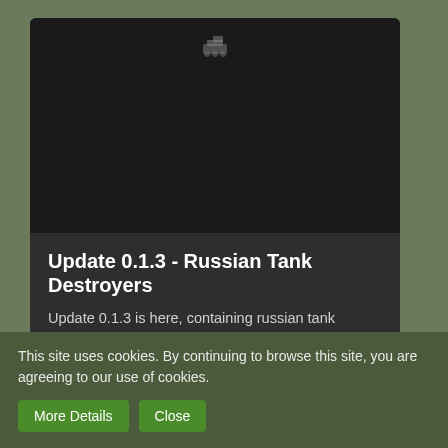[Figure (screenshot): Dark game image area with small logo icon at top center, showing a tank game screenshot in dark tones]
Update 0.1.3 - Russian Tank Destroyers
Update 0.1.3 is here, containing russian tank destroyers, higher silver rewards, balance changes and more!
Armynator
Nov 23rd 2018
♥ × 3  💬 0
This site uses cookies. By continuing to browse this site, you are agreeing to our use of cookies.